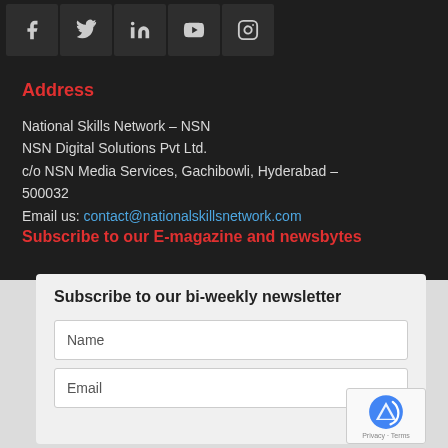[Figure (other): Social media icons row: Facebook, Twitter, LinkedIn, YouTube, Instagram]
Address
National Skills Network – NSN
NSN Digital Solutions Pvt Ltd.
c/o NSN Media Services, Gachibowli, Hyderabad – 500032
Email us: contact@nationalskillsnetwork.com
Subscribe to our E-magazine and newsbytes
Subscribe to our bi-weekly newsletter
Name
Email